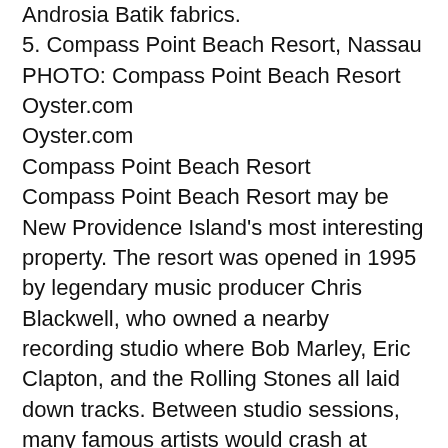Androsia Batik fabrics.
5. Compass Point Beach Resort, Nassau
PHOTO: Compass Point Beach Resort
Oyster.com
Oyster.com
Compass Point Beach Resort
Compass Point Beach Resort may be New Providence Island's most interesting property. The resort was opened in 1995 by legendary music producer Chris Blackwell, who owned a nearby recording studio where Bob Marley, Eric Clapton, and the Rolling Stones all laid down tracks. Between studio sessions, many famous artists would crash at Compass Point Beach Resort. The resort's appearance is as noteworthy as its history: It's composed of 18 rainbow-colored huts inspired by Junkanoo, the Bahamian street parade. All rooms have surround-sound music systems and balconies, and some include open-air kitchenettes, dining spaces, and